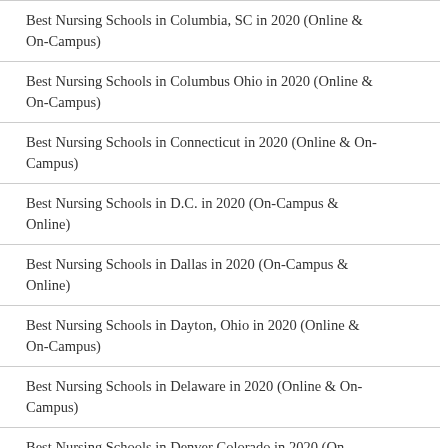Best Nursing Schools in Columbia, SC in 2020 (Online & On-Campus)
Best Nursing Schools in Columbus Ohio in 2020 (Online & On-Campus)
Best Nursing Schools in Connecticut in 2020 (Online & On-Campus)
Best Nursing Schools in D.C. in 2020 (On-Campus & Online)
Best Nursing Schools in Dallas in 2020 (On-Campus & Online)
Best Nursing Schools in Dayton, Ohio in 2020 (Online & On-Campus)
Best Nursing Schools in Delaware in 2020 (Online & On-Campus)
Best Nursing Schools in Denver Colorado in 2020 (On-Campus & Online)